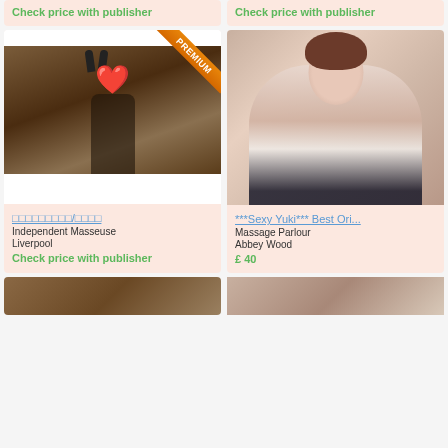Check price with publisher
Check price with publisher
[Figure (photo): Listing card with photo of person in black outfit near piano with bunny ears, heart emoji covering face. PREMIUM ribbon badge. Title in Chinese characters. Independent Masseuse, Liverpool. Check price with publisher.]
[Figure (photo): Listing card with photo of smiling Asian woman in white top. Title: ***Sexy Yuki*** Best Ori... Massage Parlour, Abbey Wood. Price: £ 40.]
[Figure (photo): Partial listing card at bottom left, image partially visible.]
[Figure (photo): Partial listing card at bottom right, image partially visible.]